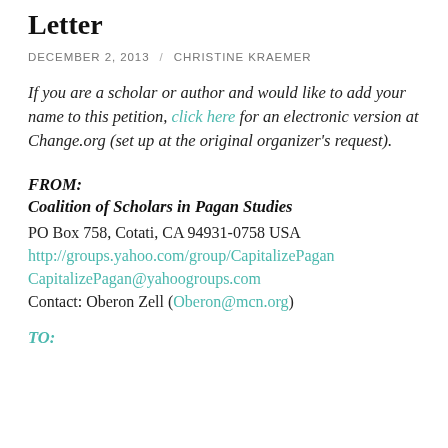Chicago Manual / AP Stylebook Letter
DECEMBER 2, 2013 / CHRISTINE KRAEMER
If you are a scholar or author and would like to add your name to this petition, click here for an electronic version at Change.org (set up at the original organizer's request).
FROM:
Coalition of Scholars in Pagan Studies
PO Box 758, Cotati, CA 94931-0758 USA
http://groups.yahoo.com/group/CapitalizePagan
CapitalizePagan@yahoogroups.com
Contact: Oberon Zell (Oberon@mcn.org)
TO: